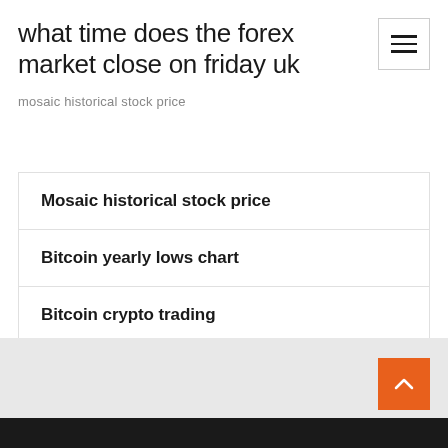what time does the forex market close on friday uk
mosaic historical stock price
Mosaic historical stock price
Bitcoin yearly lows chart
Bitcoin crypto trading
Fx trader salary
Korean 500 coin value in pakistan